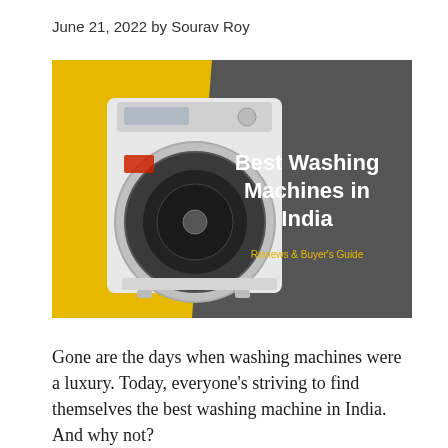June 21, 2022 by Sourav Roy
[Figure (illustration): Hero image showing a front-load washing machine on a yellow background with a dark grey panel on the right containing bold white text 'Best Washing Machines in India' and yellow subtitle 'Reviews & Buyer's Guide']
Gone are the days when washing machines were a luxury. Today, everyone's striving to find themselves the best washing machine in India. And why not?